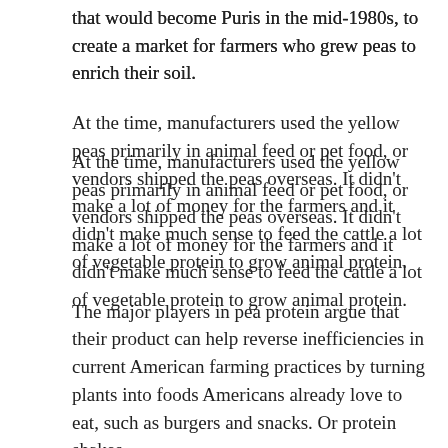that would become Puris in the mid-1980s, to create a market for farmers who grew peas to enrich their soil.
At the time, manufacturers used the yellow peas primarily in animal feed or pet food, or vendors shipped the peas overseas. It didn't make a lot of money for the farmers and it didn't make much sense to feed the cattle a lot of vegetable protein to grow animal protein.
The major players in pea protein argue that their product can help reverse inefficiencies in current American farming practices by turning plants into foods Americans already love to eat, such as burgers and snacks. Or protein shakes.
Powdered yellow peas certainly provide protein. Two scoops of a popular brand, Naked Pea, contain 27 grams of protein, two grams of carbohydrate, and 120 calories. (By comparison, the same amount of Naked Whey contains 25 grams of protein, three grams of carbohydrate